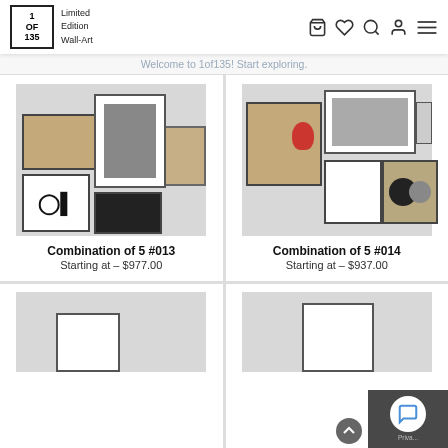1 OF 135 Limited Edition Wall-Art — nav bar with icons
Welcome to 1of135! Start exploring.
[Figure (photo): Gallery wall mockup for Combination of 5 #013 showing 5 art prints arranged on a grey wall]
Combination of 5 #013
Starting at – $977.00
[Figure (photo): Gallery wall mockup for Combination of 5 #014 showing 5 art prints arranged on a grey wall]
Combination of 5 #014
Starting at – $937.00
[Figure (photo): Partial gallery wall mockup, bottom-left product card]
[Figure (photo): Partial gallery wall mockup, bottom-right product card]